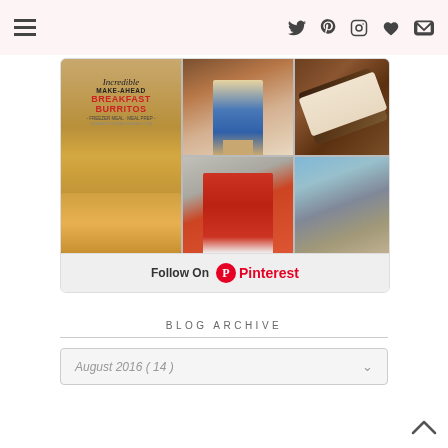Navigation icons: menu, twitter, pinterest, instagram, heart, email
[Figure (screenshot): Pinterest image grid showing 5 photos: breakfast burritos recipe card, person at wooden door with groceries, chocolate-dipped treat being held, woman in red dress outside, mountain landscape. With 'Follow On Pinterest' button below.]
BLOG ARCHIVE
August 2016 ( 14 )